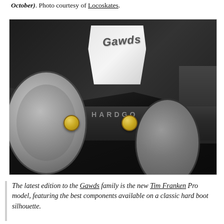for pre-order now (estimated to arrive in early October). Photo courtesy of Locoskates.
[Figure (photo): Close-up photo of a Gawds inline skate showing the boot shell, white accent with Gawds logo, Kizer Hardgood frame with gold bolts/screws, and wheels with graphic print.]
The latest edition to the Gawds family is the new Tim Franken Pro model, featuring the best components available on a classic hard boot silhouette.